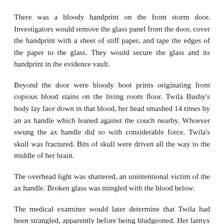There was a bloody handprint on the front storm door. Investigators would remove the glass panel from the door, cover the handprint with a sheet of stiff paper, and tape the edges of the paper to the glass. They would secure the glass and its handprint in the evidence vault.
Beyond the door were bloody boot prints originating from copious blood stains on the living room floor. Twila Busby's body lay face down in that blood, her head smashed 14 times by an ax handle which leaned against the couch nearby. Whoever swung the ax handle did so with considerable force. Twila's skull was fractured. Bits of skull were driven all the way to the middle of her brain.
The overhead light was shattered, an unintentional victim of the ax handle. Broken glass was mingled with the blood below.
The medical examiner would later determine that Twila had been strangled, apparently before being bludgeoned. Her larnyx was crushed and one of her two hyoid bones broken.